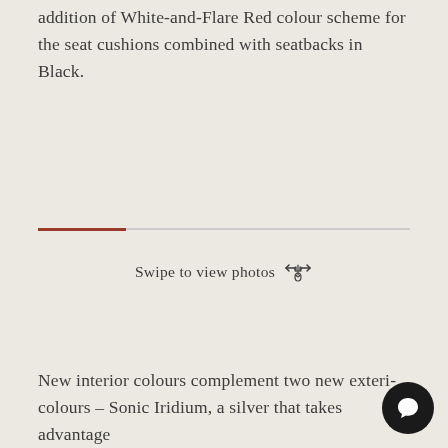addition of White-and-Flare Red colour scheme for the seat cushions combined with seatbacks in Black.
Swipe to view photos
New interior colours complement two new exteri colours – Sonic Iridium, a silver that takes advantage